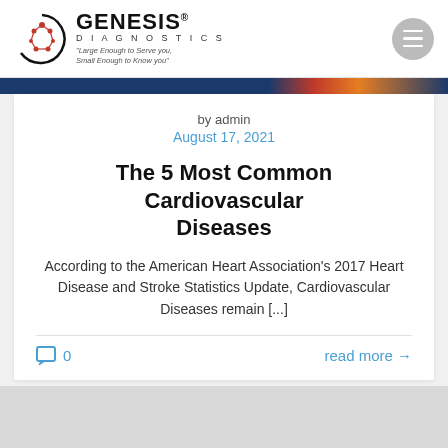[Figure (logo): Genesis Diagnostics logo with circular DNA/molecule icon, company name, tagline 'Large Enough to Serve you, Small Enough to Know you']
by admin
August 17, 2021
The 5 Most Common Cardiovascular Diseases
According to the American Heart Association’s 2017 Heart Disease and Stroke Statistics Update, Cardiovascular Diseases remain [...]
0
read more →